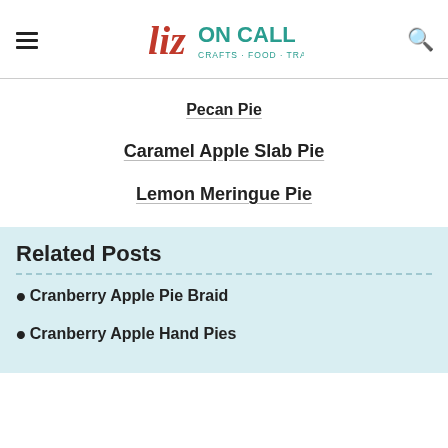Liz ON CALL · CRAFTS · FOOD · TRAVEL
Pecan Pie
Caramel Apple Slab Pie
Lemon Meringue Pie
Related Posts
Cranberry Apple Pie Braid
Cranberry Apple Hand Pies